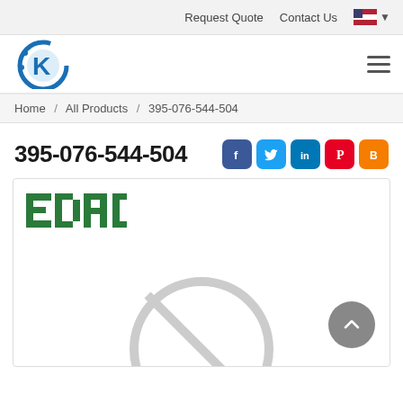Request Quote  Contact Us
[Figure (logo): Company logo with stylized K letter in blue circle on left; hamburger menu icon on right]
Home / All Products / 395-076-544-504
395-076-544-504
[Figure (illustration): Social media icons: Facebook (blue), Twitter (light blue), LinkedIn (blue), Pinterest (red), Blogger (orange)]
[Figure (photo): Product card showing EDAC logo in green, a gray no-image-available circle icon, and a scroll-to-top button]